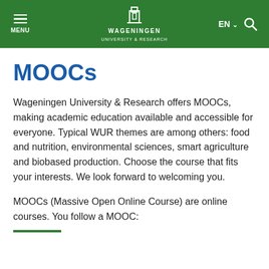MENU | WAGENINGEN UNIVERSITY & RESEARCH | EN | Search
MOOCs
Wageningen University & Research offers MOOCs, making academic education available and accessible for everyone. Typical WUR themes are among others: food and nutrition, environmental sciences, smart agriculture and biobased production. Choose the course that fits your interests. We look forward to welcoming you.
MOOCs (Massive Open Online Course) are online courses. You follow a MOOC: